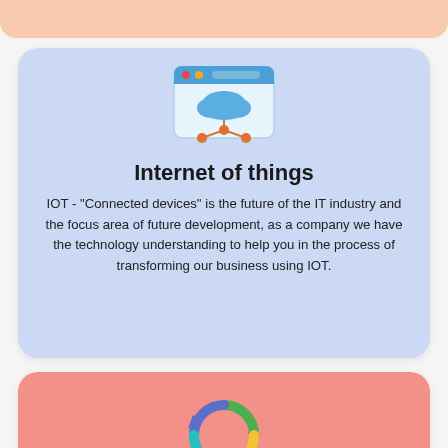[Figure (illustration): Cloud computing / IoT icon: browser window with cloud and network nodes]
Internet of things
IOT - “Connected devices” is the future of the IT industry and the focus area of future development, as a company we have the technology understanding to help you in the process of transforming our business using IOT.
[Figure (illustration): Agile / cycle icon: colorful circular arrows with a red arrow pointing right]
Hire agile dedicated resources